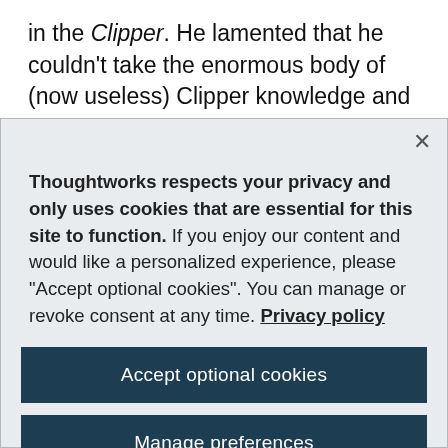in the Clipper. He lamented that he couldn't take the enormous body of (now useless) Clipper knowledge and replace it with something else. He also speculated (and this is still an open question): has
[Figure (screenshot): Cookie consent modal dialog with dark blue background close button (×), privacy notice text, 'Accept optional cookies' button, and 'Manage preferences' button on a light grey background.]